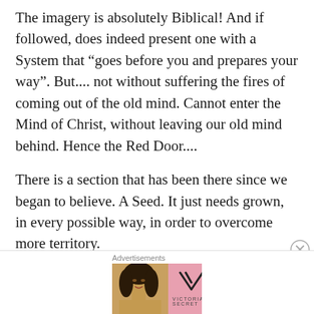The imagery is absolutely Biblical! And if followed, does indeed present one with a System that “goes before you and prepares your way”. But.... not without suffering the fires of coming out of the old mind. Cannot enter the Mind of Christ, without leaving our old mind behind. Hence the Red Door....
There is a section that has been there since we began to believe. A Seed. It just needs grown, in every possible way, in order to overcome more territory.
Advertisements
[Figure (photo): Victoria's Secret advertisement banner with a model photo on the left, VS logo in the center on a pink background, and a 'SHOP NOW' button on the right with text 'SHOP THE COLLECTION']